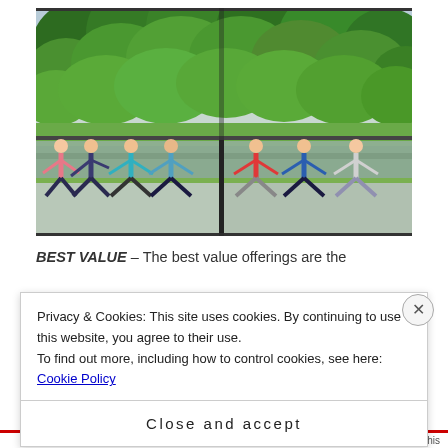[Figure (photo): Outdoor yoga class on a deck near a river, surrounded by lush green trees. Two side-by-side panels show groups of people in warrior yoga poses on yoga mats, with a river and dense tropical foliage in the background.]
BEST VALUE – The best value offerings are the
Privacy & Cookies: This site uses cookies. By continuing to use this website, you agree to their use.
To find out more, including how to control cookies, see here: Cookie Policy
Close and accept